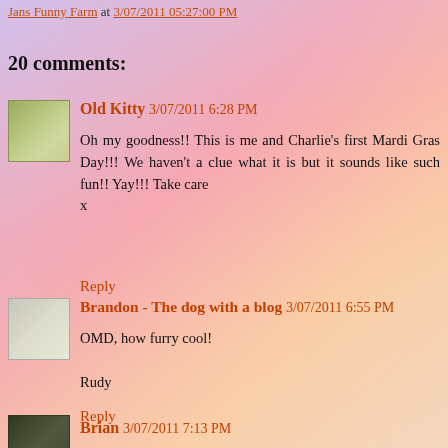Jans Funny Farm at 3/07/2011 05:27:00 PM
20 comments:
Old Kitty  3/07/2011 6:28 PM
Oh my goodness!! This is me and Charlie's first Mardi Gras Day!!! We haven't a clue what it is but it sounds like such fun!! Yay!!! Take care
x
Reply
Brandon - The dog with a blog  3/07/2011 6:55 PM
OMD, how furry cool!

Rudy
Reply
Brian  3/07/2011 7:13 PM